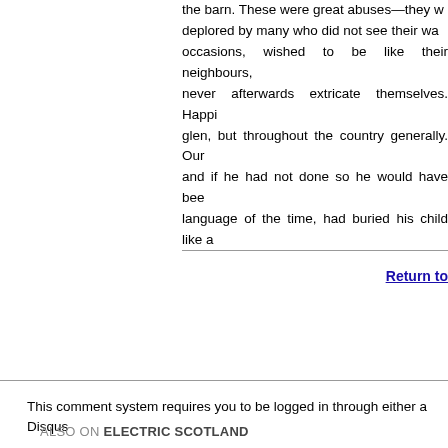the barn. These were great abuses—they were deplored by many who did not see their way, on occasions, wished to be like their neighbours, never afterwards extricate themselves. Happi glen, but throughout the country generally. Our and if he had not done so he would have bee language of the time, had buried his child like a
Return to
This comment system requires you to be logged in through either a Disqus already have with Google, Twitter, Facebook or Yahoo. In the event you don of these companies then you can create an account with Disqus. All comme won't display until the moderator has approved your comment.
ALSO ON ELECTRIC SCOTLAND